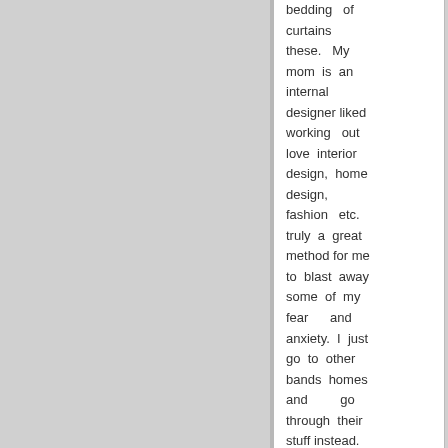bedding or curtains these. My mom is an internal designer liked working out love interior design, home design, fashion etc. truly a great method for me to blast away some of my fear and anxiety. I just go to other bands homes and go through their stuff instead.
TIS: You step in the role of Marybeth in Hatchet II, which used to